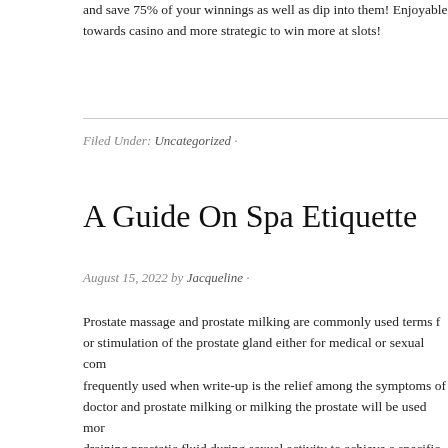and save 75% of your winnings as well as dip into them! Enjoyable towards casino and more strategic to win more at slots!
Filed Under: Uncategorized ·
A Guide On Spa Etiquette
August 15, 2022 by Jacqueline ·
Prostate massage and prostate milking are commonly used terms for or stimulation of the prostate gland either for medical or sexual com frequently used when write-up is the relief among the symptoms of doctor and prostate milking or milking the prostate will be used mor draining prostatic fluid during sexual activity to achieve a specific re performed internally or externally, but I am going to describe the int
Don't worry to seek special accommodations during your massage few clients who struggle to turn from their belly due to their back. T since it is easier flip from to belly. Or maybe heat within the table fo be likely to request that will. On the other hand, some individuals g with too much heat, so be bound to request a good table. No detail